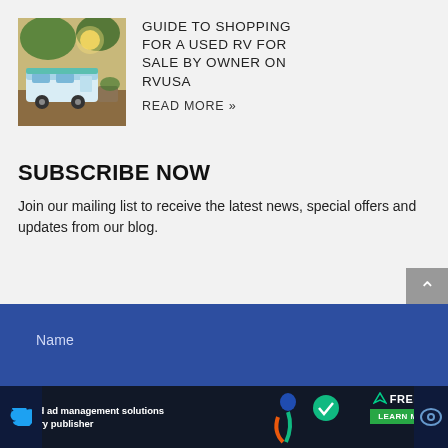[Figure (photo): Photo of an RV / tent camping scene outdoors with trees and sunlight]
GUIDE TO SHOPPING FOR A USED RV FOR SALE BY OWNER ON RVUSA
READ MORE »
SUBSCRIBE NOW
Join our mailing list to receive the latest news, special offers and updates from our blog.
Name
Tailored ad management solutions for every publisher
FREESTA
LEARN MORE